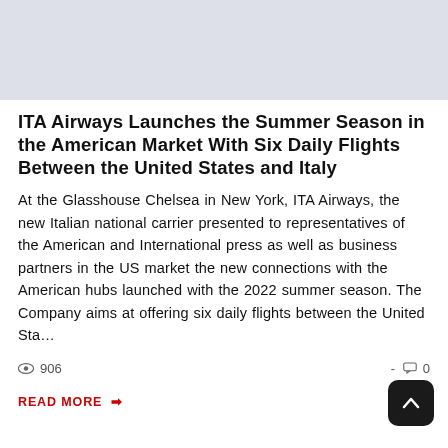[Figure (photo): Light gray placeholder image banner at top of page]
ITA Airways Launches the Summer Season in the American Market With Six Daily Flights Between the United States and Italy
At the Glasshouse Chelsea in New York, ITA Airways, the new Italian national carrier presented to representatives of the American and International press as well as business partners in the US market the new connections with the American hubs launched with the 2022 summer season. The Company aims at offering six daily flights between the United Sta…
👁 906   -  💬 0
READ MORE →